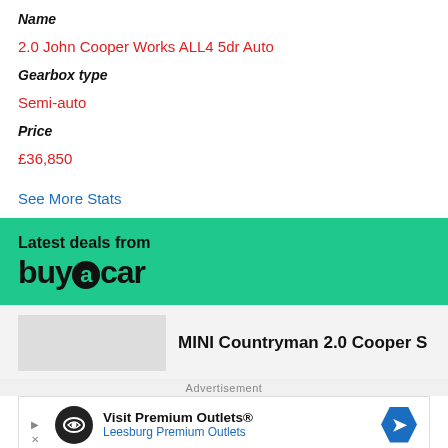Name
2.0 John Cooper Works ALL4 5dr Auto
Gearbox type
Semi-auto
Price
£36,850
See More Stats
[Figure (infographic): Latest deals from buyacar banner with green background]
MINI Countryman 2.0 Cooper S
Advertisement
[Figure (infographic): Visit Premium Outlets® Leesburg Premium Outlets advertisement banner]